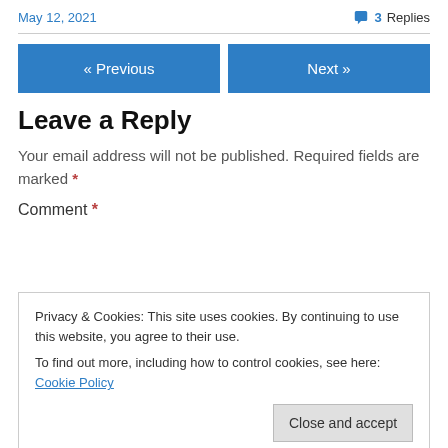May 12, 2021
3 Replies
« Previous
Next »
Leave a Reply
Your email address will not be published. Required fields are marked *
Comment *
Privacy & Cookies: This site uses cookies. By continuing to use this website, you agree to their use.
To find out more, including how to control cookies, see here: Cookie Policy
Close and accept